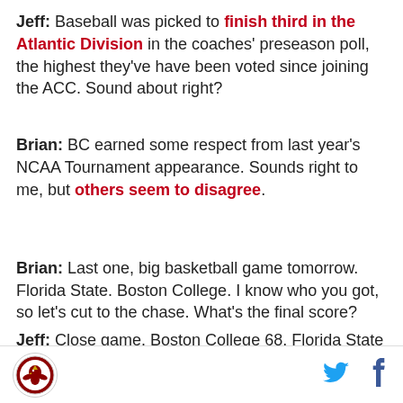Jeff: Baseball was picked to finish third in the Atlantic Division in the coaches' preseason poll, the highest they've have been voted since joining the ACC. Sound about right?
Brian: BC earned some respect from last year's NCAA Tournament appearance. Sounds right to me, but others seem to disagree.
Brian: Last one, big basketball game tomorrow. Florida State. Boston College. I know who you got, so let's cut to the chase. What's the final score?
Jeff: Close game. Boston College 68. Florida State 65
[Figure (logo): Boston College Eagles logo — circular badge with eagle/shield design in red and gold on white background]
[Figure (logo): Twitter bird icon in light blue]
[Figure (logo): Facebook f icon in dark blue]